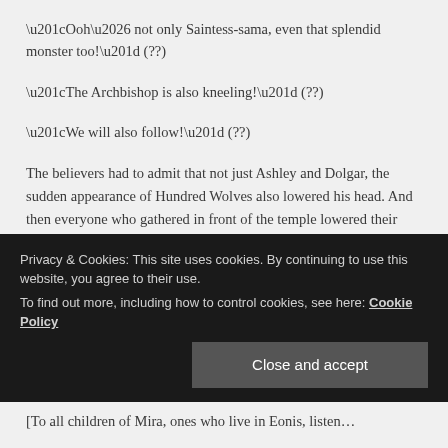“Ooh… not only Saintess-sama, even that splendid monster too!” (??)
“The Archbishop is also kneeling!” (??)
“We will also follow!” (??)
The believers had to admit that not just Ashley and Dolgar, the sudden appearance of Hundred Wolves also lowered his head. And then everyone who gathered in front of the temple lowered their heads.
[partial line cut off by cookie banner]
Privacy & Cookies: This site uses cookies. By continuing to use this website, you agree to their use.
To find out more, including how to control cookies, see here: Cookie Policy
[To all children of Mira, ones who live in Eonis, listen… (partial, bottom)